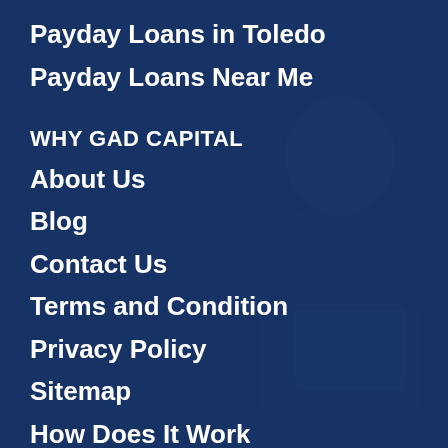Payday Loans in Toledo
Payday Loans Near Me
WHY GAD CAPITAL
About Us
Blog
Contact Us
Terms and Condition
Privacy Policy
Sitemap
How Does It Work